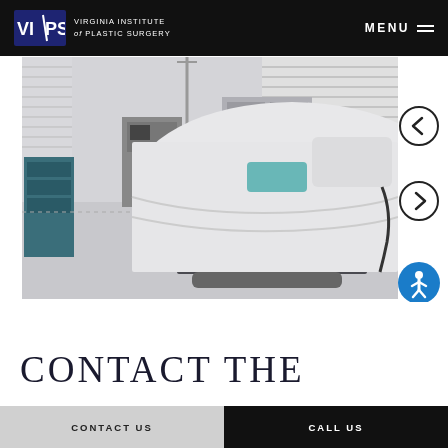VIPS Virginia Institute of Plastic Surgery | MENU
[Figure (photo): An operating/procedure room with a surgical bed draped in white sheets, medical equipment and carts in the background, bright window blinds in the background]
CONTACT THE
CONTACT US | CALL US